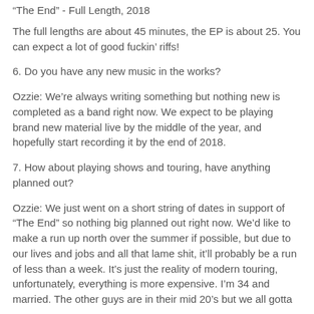“The End” - Full Length, 2018
The full lengths are about 45 minutes, the EP is about 25. You can expect a lot of good fuckin’ riffs!
6. Do you have any new music in the works?
Ozzie: We’re always writing something but nothing new is completed as a band right now. We expect to be playing brand new material live by the middle of the year, and hopefully start recording it by the end of 2018.
7. How about playing shows and touring, have anything planned out?
Ozzie: We just went on a short string of dates in support of “The End” so nothing big planned out right now. We’d like to make a run up north over the summer if possible, but due to our lives and jobs and all that lame shit, it’ll probably be a run of less than a week. It’s just the reality of modern touring, unfortunately, everything is more expensive. I’m 34 and married. The other guys are in their mid 20’s but we all gotta